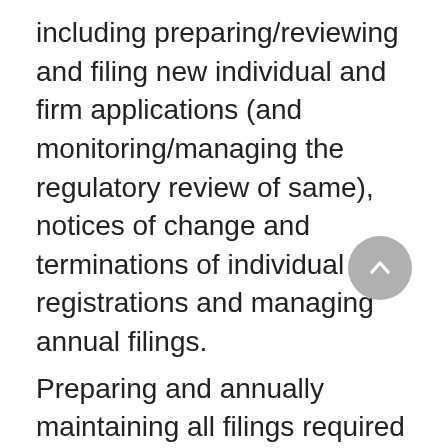including preparing/reviewing and filing new individual and firm applications (and monitoring/managing the regulatory review of same), notices of change and terminations of individual registrations and managing annual filings.
Preparing and annually maintaining all filings required to support our clients who rely on an international or other exemption from the dealer, adviser or investment fund manager registration requirements.
Maintaining the Firm's reminder system regarding annual meetings for our public company clients.
Liaising with clients, accountants, lawyers and regulators by telephone and in person to take